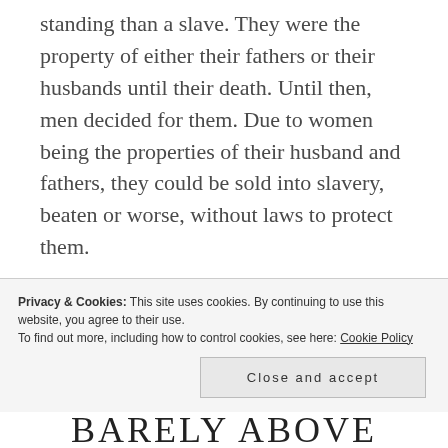standing than a slave. They were the property of either their fathers or their husbands until their death. Until then, men decided for them. Due to women being the properties of their husband and fathers, they could be sold into slavery, beaten or worse, without laws to protect them.
Only once a slave had had 7 children, or a free woman three, had they achieved the right to be emancipated. But if their family did not provide them with means for subsistence, there was little opportunity for them to exercise this right.
Privacy & Cookies: This site uses cookies. By continuing to use this website, you agree to their use. To find out more, including how to control cookies, see here: Cookie Policy
Close and accept
BARELY ABOVE